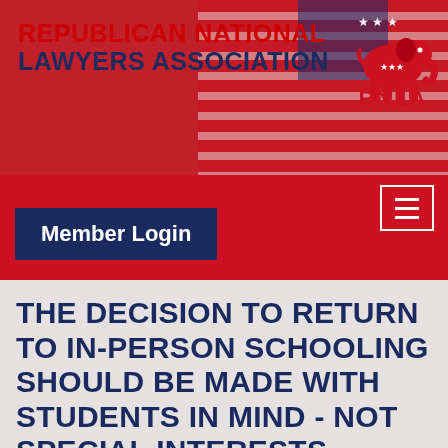REPUBLICAN NATIONAL LAWYERS ASSOCIATION
[Figure (logo): RNLA elephant logo with stars and RNLA text]
Member Login
THE DECISION TO RETURN TO IN-PERSON SCHOOLING SHOULD BE MADE WITH STUDENTS IN MIND - NOT SPECIAL INTERESTS